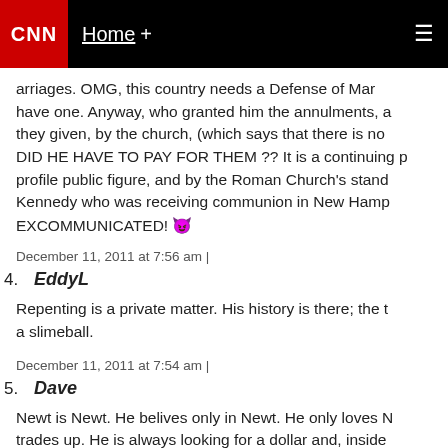CNN | Home +
arriages. OMG, this country needs a Defense of Mar... have one. Anyway, who granted him the annulments, a... they given, by the church, (which says that there is no... DID HE HAVE TO PAY FOR THEM ?? It is a continuing p... profile public figure, and by the Roman Church's stan... Kennedy who was receiving communion in New Hamp... EXCOMMUNICATED! 😈
December 11, 2011 at 7:56 am |
4. EddyL
Repenting is a private matter. His history is there; the t... a slimeball.
December 11, 2011 at 7:54 am |
5. Dave
Newt is Newt. He belives only in Newt. He only loves N... trades up. He is always looking for a dollar and, inside...